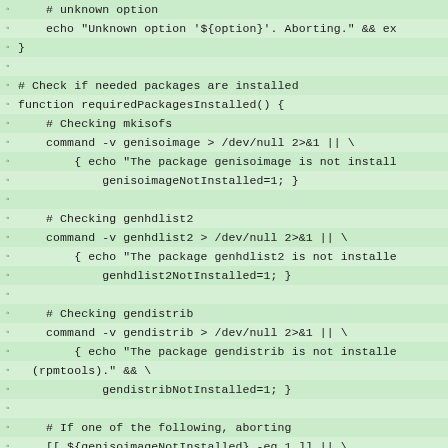# unknown option
echo "Unknown option '${option}'. Aborting." && ex
}

# Check if needed packages are installed
function requiredPackagesInstalled() {
    # Checking mkisofs
    command -v genisoimage > /dev/null 2>&1 || \
        { echo "The package genisoimage is not install
            genisoimageNotInstalled=1; }

    # Checking genhdlist2
    command -v genhdlist2 > /dev/null 2>&1 || \
        { echo "The package genhdlist2 is not installe
            genhdlist2NotInstalled=1; }

    # Checking gendistrib
    command -v gendistrib > /dev/null 2>&1 || \
        { echo "The package gendistrib is not installe
  (rpmtools)." && \
            gendistribNotInstalled=1; }

    # If one of the following, aborting
    [[ ${genisoimageNotInstalled} -eq 1 ]] || \
        [[ ${genhdlist2NotInstalled} -eq 1 ]] ||